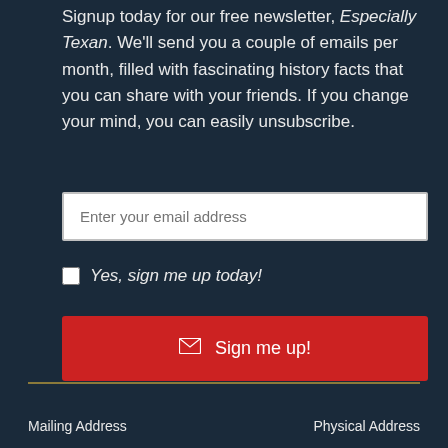Signup today for our free newsletter, Especially Texan. We'll send you a couple of emails per month, filled with fascinating history facts that you can share with your friends. If you change your mind, you can easily unsubscribe.
[Figure (other): Email address input field with placeholder text 'Enter your email address']
Yes, sign me up today!
[Figure (other): Red signup button with envelope icon and text 'Sign me up!']
Mailing Address   Physical Address